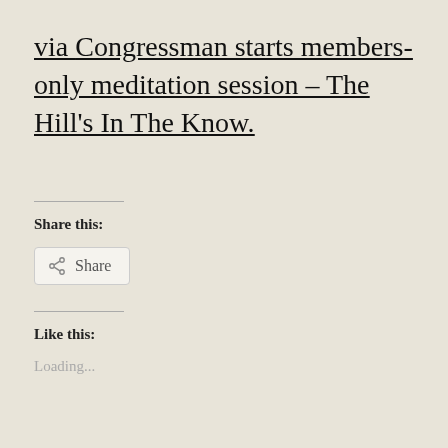via Congressman starts members-only meditation session – The Hill's In The Know.
Share this:
Share
Like this:
Loading...
Related
The stress of not
Ed and Deb Shapiro: Why